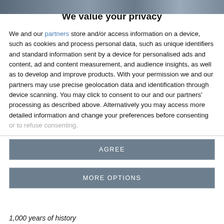[Figure (photo): Partial photo strip visible at top of page, showing blurred figures]
We value your privacy
We and our partners store and/or access information on a device, such as cookies and process personal data, such as unique identifiers and standard information sent by a device for personalised ads and content, ad and content measurement, and audience insights, as well as to develop and improve products. With your permission we and our partners may use precise geolocation data and identification through device scanning. You may click to consent to our and our partners' processing as described above. Alternatively you may access more detailed information and change your preferences before consenting or to refuse consenting.
AGREE
MORE OPTIONS
1,000 years of history